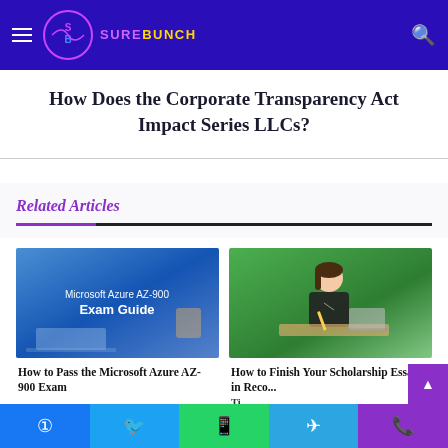SUREBUNCH
How Does the Corporate Transparency Act Impact Series LLCs?
Related Articles
[Figure (photo): Microsoft Azure AZ-900 Exam Guide - blue toned image with laptop and text overlay]
How to Pass the Microsoft Azure AZ-900 Exam
[Figure (photo): Young woman writing and studying with laptop outdoors near green plants]
How to Finish Your Scholarship Essay in Record Time: A Step-by-Step Guide
Facebook | Twitter | WhatsApp | Telegram | Phone